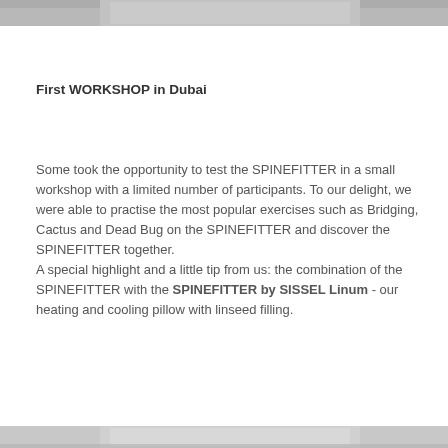[Figure (photo): Top portion of a photo, partially cropped, gray tones visible at top of page]
First WORKSHOP in Dubai
Some took the opportunity to test the SPINEFITTER in a small workshop with a limited number of participants. To our delight, we were able to practise the most popular exercises such as Bridging, Cactus and Dead Bug on the SPINEFITTER and discover the SPINEFITTER together. A special highlight and a little tip from us: the combination of the SPINEFITTER with the SPINEFITTER by SISSEL Linum - our heating and cooling pillow with linseed filling.
[Figure (photo): Bottom portion of a photo, partially cropped, gray tones visible at bottom of page]